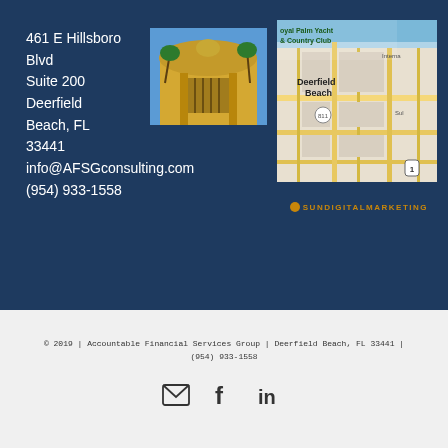461 E Hillsboro Blvd
Suite 200
Deerfield Beach, FL 33441
info@AFSGconsulting.com
(954) 933-1558
[Figure (photo): Exterior photo of office building with decorative gate and palm trees]
[Figure (map): Street map showing Deerfield Beach area with Royal Palm Yacht & Country Club label]
[Figure (logo): Sun Digital Marketing logo with orange dot and text SUNDIGITALMARKETING]
© 2019 | Accountable Financial Services Group | Deerfield Beach, FL 33441 | (954) 933-1558
[Figure (illustration): Social media icons: envelope, Facebook, LinkedIn]